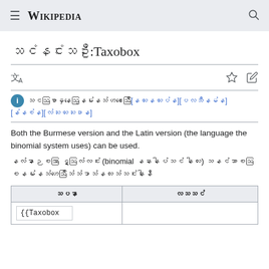Wikipedia
ဝီကီပီးဒီးယား:Taxobox
{{ℹ️}} ဤဘာသာပြန်ဆိုမှုသည်မသေချာ[ဆွေးနွေးရန်] [ပြင်ဆင်ရန်] [မှတ်တမ်း] [ရှင်းလင်းချက်]
Both the Burmese version and the Latin version (the language the binomial system uses) can be used.
မြန်မာဘာသာ ဗားရှင်းနှင့် (binomial စနစ်အသုံးပြု သော) လက်တင်ဘာသာဗားရှင်းနှစ်မျိုးလုံးကိုသုံးနိုင်သည်
| ဥပမာ | ရလဒ် |
| --- | --- |
| {{Taxobox |  |